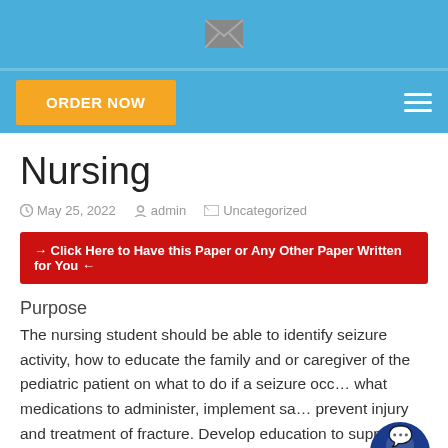[Figure (other): Website header with blue background and envelope/mail icon]
[Figure (other): Navigation bar with orange ORDER NOW button and hamburger menu on blue background]
Nursing
May 25, 2022   admin   Uncategorized
→ Click Here to Have this Paper or Any Other Paper Written for You ←
Purpose
The nursing student should be able to identify seizure activity, how to educate the family and or caregiver of the pediatric patient on what to do if a seizure occ… what medications to administer, implement sa… prevent injury and treatment of fracture. Develop education to support discharge based on assessment of